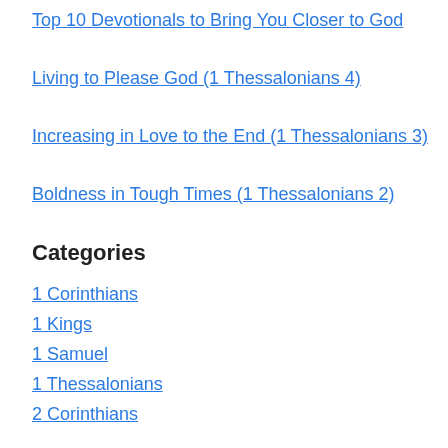Top 10 Devotionals to Bring You Closer to God
Living to Please God (1 Thessalonians 4)
Increasing in Love to the End (1 Thessalonians 3)
Boldness in Tough Times (1 Thessalonians 2)
Categories
1 Corinthians
1 Kings
1 Samuel
1 Thessalonians
2 Corinthians
2 Samuel
Acts